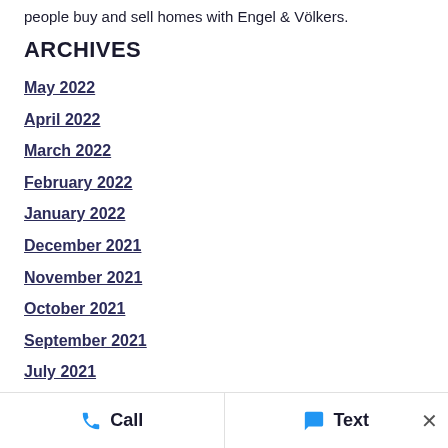people buy and sell homes with Engel & Völkers.
ARCHIVES
May 2022
April 2022
March 2022
February 2022
January 2022
December 2021
November 2021
October 2021
September 2021
July 2021
May 2021
April 2021
March 2021
February 2021
Call | Text ×